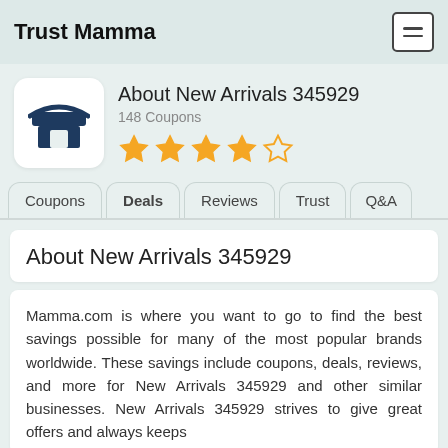Trust Mamma
About New Arrivals 345929
148 Coupons
[Figure (logo): Store icon showing a dark navy shop/storefront symbol on white rounded square background]
4 out of 5 stars rating
Coupons
Deals
Reviews
Trust
Q&A
About New Arrivals 345929
Mamma.com is where you want to go to find the best savings possible for many of the most popular brands worldwide. These savings include coupons, deals, reviews, and more for New Arrivals 345929 and other similar businesses. New Arrivals 345929 strives to give great offers and always keeps the most current deals, offers, and coupons.